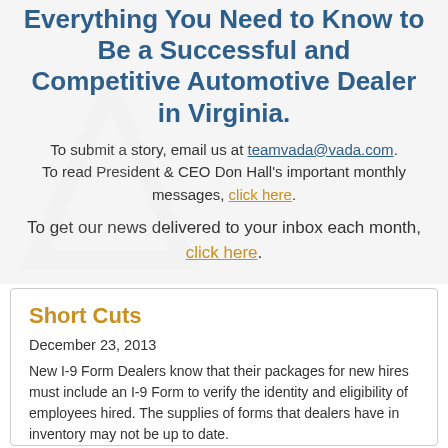Everything You Need to Know to Be a Successful and Competitive Automotive Dealer in Virginia.
To submit a story, email us at teamvada@vada.com. To read President & CEO Don Hall's important monthly messages, click here.
To get our news delivered to your inbox each month, click here.
Short Cuts
December 23, 2013
New I-9 Form Dealers know that their packages for new hires must include an I-9 Form to verify the identity and eligibility of employees hired. The supplies of forms that dealers have in inventory may not be up to date.